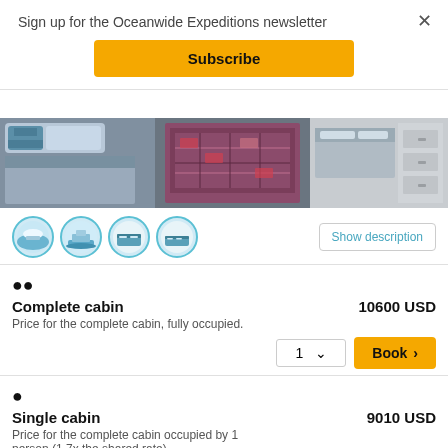Sign up for the Oceanwide Expeditions newsletter
Subscribe
[Figure (photo): Interior photo of a ship cabin showing two beds with blue bedding, a colorful patterned rug on the floor, and wooden furniture/drawers]
[Figure (illustration): Four circular thumbnail images showing views of the ship exterior and cabin beds]
Show description
Complete cabin
10600 USD
Price for the complete cabin, fully occupied.
1   Book ›
Single cabin
9010 USD
Price for the complete cabin occupied by 1 person (1.7x the shared rate).